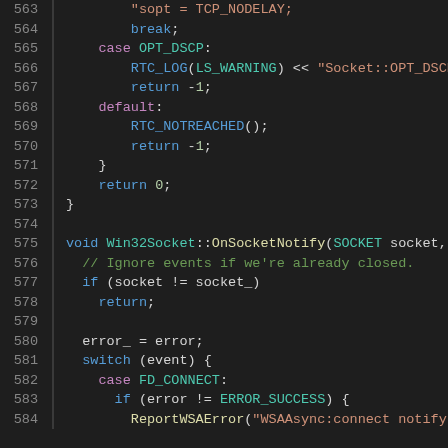[Figure (screenshot): Source code viewer showing C++ code lines 563-584. Dark background IDE view with syntax highlighting. Lines show socket/networking code including OPT_DSCP case, default case, Win32Socket::OnSocketNotify function, and FD_CONNECT case handling.]